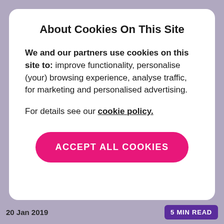About Cookies On This Site
We and our partners use cookies on this site to: improve functionality, personalise (your) browsing experience, analyse traffic, for marketing and personalised advertising.
For details see our cookie policy.
ACCEPT ALL COOKIES
20 Jan 2019   5 MIN READ